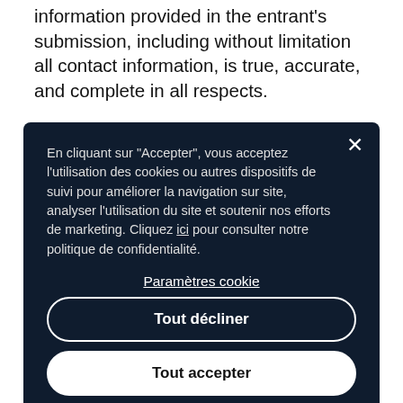information provided in the entrant's submission, including without limitation all contact information, is true, accurate, and complete in all respects.
13. Any false information provided within the context of the Challenge by any Participants or
[Figure (screenshot): Cookie consent overlay dialog in French with dark navy background. Contains text: 'En cliquant sur "Accepter", vous acceptez l'utilisation des cookies ou autres dispositifs de suivi pour améliorer la navigation sur site, analyser l'utilisation du site et soutenir nos efforts de marketing. Cliquez ici pour consulter notre politique de confidentialité.' With buttons 'Paramètres cookie', 'Tout décliner', and 'Tout accepter', and an X close button.]
Sponsors will reserve sole discretion to shortlist